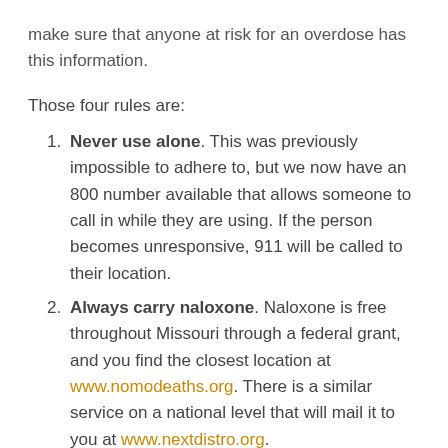make sure that anyone at risk for an overdose has this information.
Those four rules are:
Never use alone. This was previously impossible to adhere to, but we now have an 800 number available that allows someone to call in while they are using. If the person becomes unresponsive, 911 will be called to their location.
Always carry naloxone. Naloxone is free throughout Missouri through a federal grant, and you find the closest location at www.nomodeaths.org. There is a similar service on a national level that will mail it to you at www.nextdistro.org.
Understand the risk factors, such as reduced tolerance and that combining an opioid with a